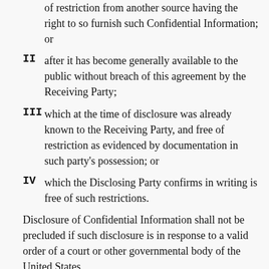Receiving Party or lawfully received free of restriction from another source having the right to so furnish such Confidential Information; or
II after it has become generally available to the public without breach of this agreement by the Receiving Party;
III which at the time of disclosure was already known to the Receiving Party, and free of restriction as evidenced by documentation in such party's possession; or
IV which the Disclosing Party confirms in writing is free of such restrictions.
Disclosure of Confidential Information shall not be precluded if such disclosure is in response to a valid order of a court or other governmental body of the United States